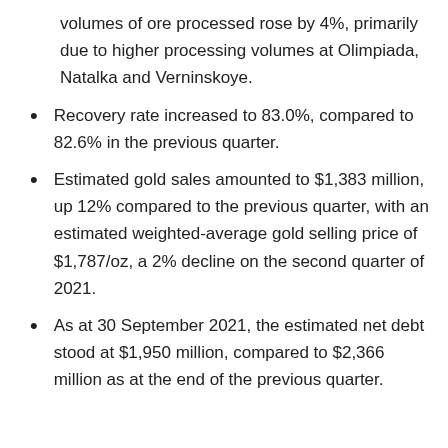volumes of ore processed rose by 4%, primarily due to higher processing volumes at Olimpiada, Natalka and Verninskoye.
Recovery rate increased to 83.0%, compared to 82.6% in the previous quarter.
Estimated gold sales amounted to $1,383 million, up 12% compared to the previous quarter, with an estimated weighted-average gold selling price of $1,787/oz, a 2% decline on the second quarter of 2021.
As at 30 September 2021, the estimated net debt stood at $1,950 million, compared to $2,366 million as at the end of the previous quarter.